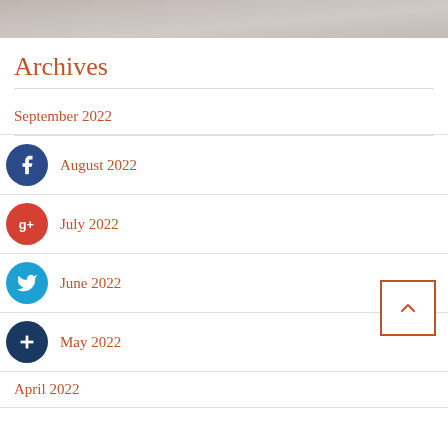[Figure (photo): Top portion of a photo showing a person with flowing hair, cropped at the top of the page]
Archives
September 2022
August 2022
July 2022
June 2022
May 2022
April 2022